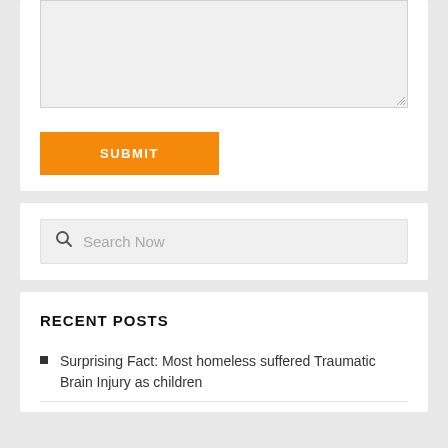[Figure (screenshot): A textarea input field (empty, light gray background) with resize handle at bottom-right corner]
SUBMIT
[Figure (screenshot): A search input field with magnifying glass icon and placeholder text 'Search Now']
RECENT POSTS
Surprising Fact: Most homeless suffered Traumatic Brain Injury as children